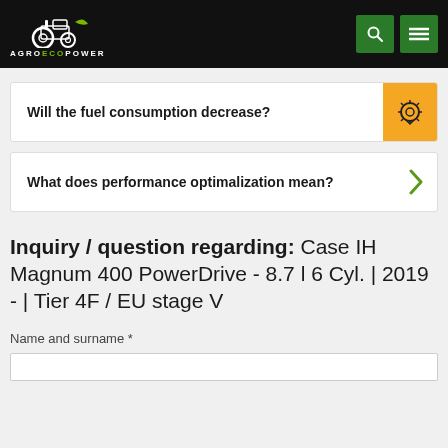AGROECOPOWER
Will the fuel consumption decrease?
What does performance optimalization mean?
Inquiry / question regarding: Case IH Magnum 400 PowerDrive - 8.7 l 6 Cyl. | 2019 - | Tier 4F / EU stage V
Name and surname *